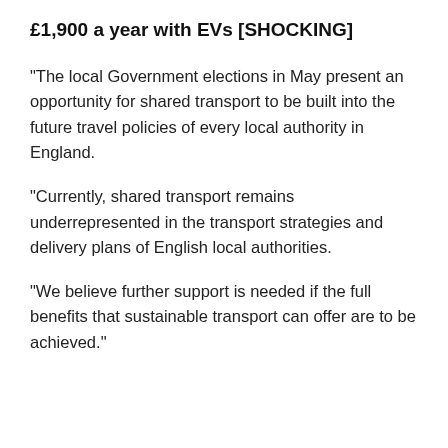£1,900 a year with EVs [SHOCKING]
“The local Government elections in May present an opportunity for shared transport to be built into the future travel policies of every local authority in England.
“Currently, shared transport remains underrepresented in the transport strategies and delivery plans of English local authorities.
“We believe further support is needed if the full benefits that sustainable transport can offer are to be achieved.”